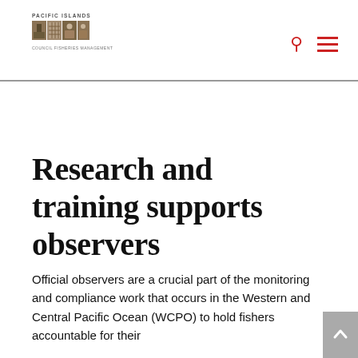Pacific Islands Council Fisheries Management logo with navigation icons
Research and training supports observers
Official observers are a crucial part of the monitoring and compliance work that occurs in the Western and Central Pacific Ocean (WCPO) to hold fishers accountable for their